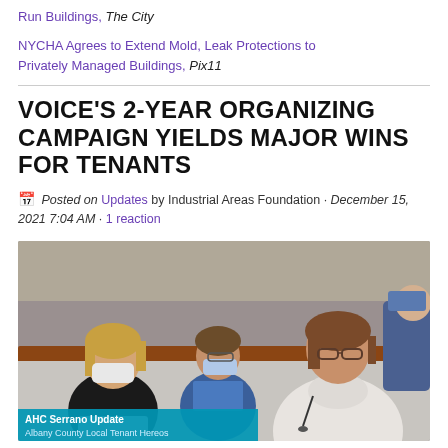Run Buildings, The City
NYCHA Agrees to Extend Mold, Leak Protections to Privately Managed Buildings, Pix11
VOICE'S 2-YEAR ORGANIZING CAMPAIGN YIELDS MAJOR WINS FOR TENANTS
Posted on Updates by Industrial Areas Foundation · December 15, 2021 7:04 AM · 1 reaction
[Figure (photo): A woman in a white turtleneck sweater speaking at a hearing table with a microphone, seated in front of other attendees wearing masks. A lower-third caption bar reads 'AHC Serrano Update' and 'Albany County Local Tenant Hereos'.]